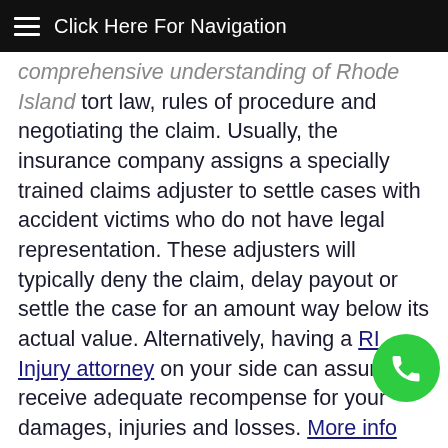Click Here For Navigation
comprehensive understanding of Rhode Island tort law, rules of procedure and negotiating the claim. Usually, the insurance company assigns a specially trained claims adjuster to settle cases with accident victims who do not have legal representation. These adjusters will typically deny the claim, delay payout or settle the case for an amount way below its actual value. Alternatively, having a RI Injury attorney on your side can assure you receive adequate recompense for your damages, injuries and losses. More info here.
Can the Insurance Company